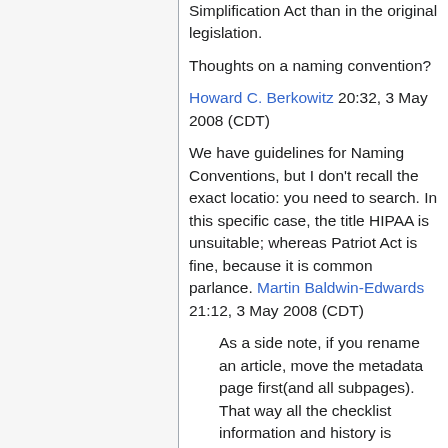Simplification Act than in the original legislation.
Thoughts on a naming convention?
Howard C. Berkowitz 20:32, 3 May 2008 (CDT)
We have guidelines for Naming Conventions, but I don't recall the exact locatio: you need to search. In this specific case, the title HIPAA is unsuitable; whereas Patriot Act is fine, because it is common parlance. Martin Baldwin-Edwards 21:12, 3 May 2008 (CDT)
As a side note, if you rename an article, move the metadata page first(and all subpages). That way all the checklist information and history is preserved. --D. Matt Innis 21:50, 3 May 2008 (CDT)